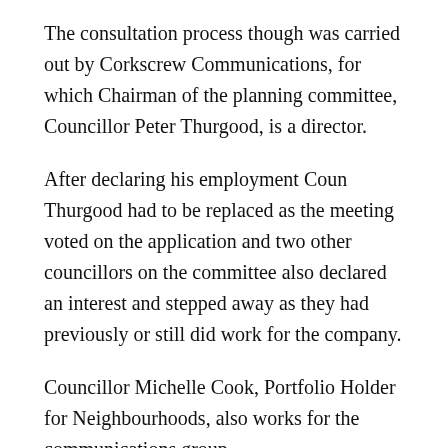The consultation process though was carried out by Corkscrew Communications, for which Chairman of the planning committee, Councillor Peter Thurgood, is a director.
After declaring his employment Coun Thurgood had to be replaced as the meeting voted on the application and two other councillors on the committee also declared an interest and stepped away as they had previously or still did work for the company.
Councillor Michelle Cook, Portfolio Holder for Neighbourhoods, also works for the communications group.